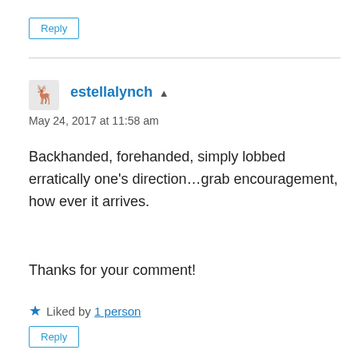Reply
estellalynch ▲
May 24, 2017 at 11:58 am
Backhanded, forehanded, simply lobbed erratically one's direction…grab encouragement, how ever it arrives.
Thanks for your comment!
Liked by 1 person
Reply